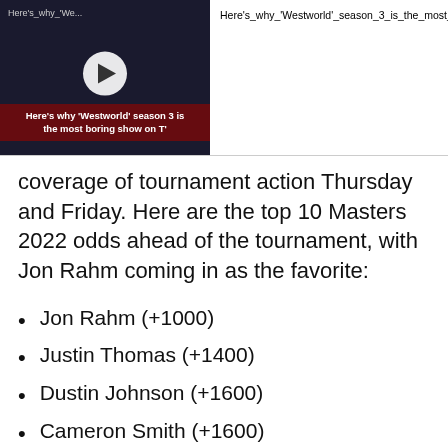[Figure (screenshot): Video thumbnail for 'Here's why Westworld season 3 is the most boring show on TV' with play button, alongside video title text and close button]
coverage of tournament action Thursday and Friday. Here are the top 10 Masters 2022 odds ahead of the tournament, with Jon Rahm coming in as the favorite:
Jon Rahm (+1000)
Justin Thomas (+1400)
Dustin Johnson (+1600)
Cameron Smith (+1600)
Scottie Scheffler (+1600)
Rory McIlroy (+1800)